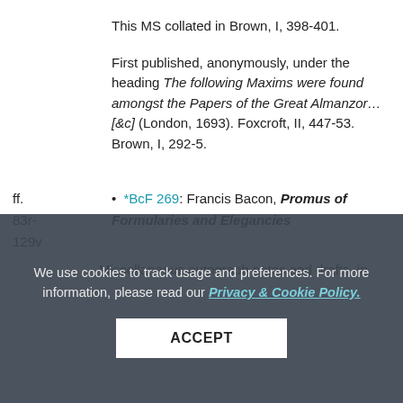This MS collated in Brown, I, 398-401.
First published, anonymously, under the heading The following Maxims were found amongst the Papers of the Great Almanzor… [&c] (London, 1693). Foxcroft, II, 447-53. Brown, I, 292-5.
ff. 83r-129v  •  *BcF 269: Francis Bacon, Promus of Formularies and Elegancies
Miscellaneous autograph notes and drafts, in English and Latin, incorporating Promus and... 1592; and f. 1... c.1594-7.
Extracts... MS to Spedding. Edited complete (with facsimile examples of t
We use cookies to track usage and preferences. For more information, please read our Privacy & Cookie Policy.